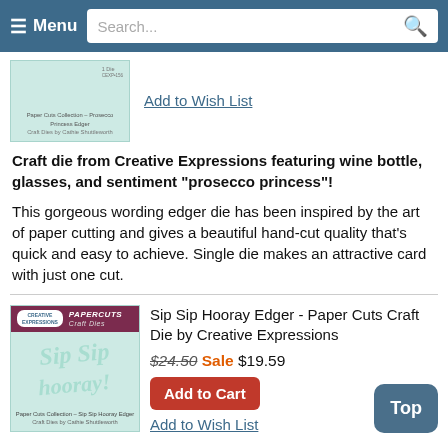≡ Menu   Search...
[Figure (photo): Product image of Paper Cuts Collection - Prosecco Princess Edger Craft Die]
Add to Wish List
Craft die from Creative Expressions featuring wine bottle, glasses, and sentiment "prosecco princess"!
This gorgeous wording edger die has been inspired by the art of paper cutting and gives a beautiful hand-cut quality that's quick and easy to achieve. Single die makes an attractive card with just one cut.
[Figure (photo): Product image of Paper Cuts Collection - Sip Sip Hooray Edger Craft Die by Creative Expressions, showing mint green die-cut text on packaging]
Sip Sip Hooray Edger - Paper Cuts Craft Die by Creative Expressions
$24.50 Sale $19.59
Add to Cart
Add to Wish List